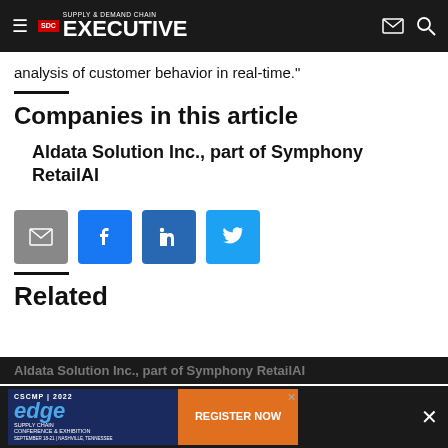Supply & Demand Chain Executive
analysis of customer behavior in real-time."
Companies in this article
Aldata Solution Inc., part of Symphony RetailAI
[Figure (infographic): Social share buttons: email (grey), Facebook (blue), LinkedIn (blue), Twitter (light blue)]
Related
Aldata Solution Inc., part of Symphony RetailAI
[Figure (infographic): CSCMP 2022 Edge Supply Chain Conference & Exhibition advertisement banner with Register Now button in orange]